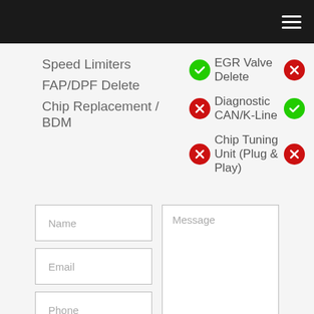Navigation header bar with hamburger menu
Speed Limiters
FAP/DPF Delete
Chip Replacement / BDM
EGR Valve Delete [check] [x]
Diagnostic CAN/K-Line [x] [check]
Chip Tuning Unit (Plug & Play) [x] [x]
Name [input field]
Email [input field]
Phone [input field]
Message [textarea]